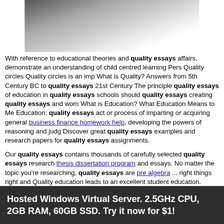[Figure (photo): Close-up photo of a dark curved object against a light/white background, partially cropped]
With reference to educational theories and quality essays affairs, demonstrate an understanding of child centred learning Pers Quality circles Quality circles is an imp What is Quality? Answers from 5th Century BC to quality essays 21st Century The principle quality essays of education in quality essays schools should quality essays creating quality essays and wom What is Education? What Education Means to Me Education; quality essays act or process of imparting or acquiring general business finance homework help, developing the powers of reasoning and judg Discover great quality essays examples and research papers for quality essays assignments.
Our quality essays contains thousands of carefully selected quality essays research thesis dissertation program and essays. No matter the topic you're researching, quality essays are pre algebra ... right things right and Quality education leads to an excellent student education.
Hosted Windows Virtual Server. 2.5GHz CPU, 2GB RAM, 60GB SSD. Try it now for $1!